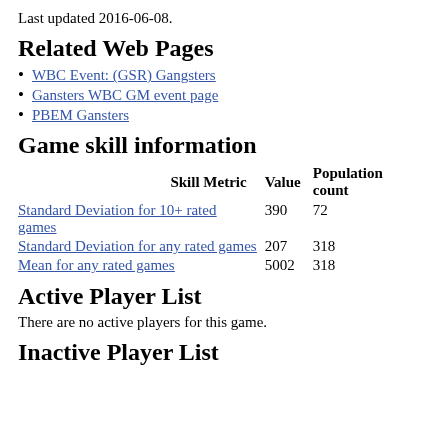Last updated 2016-06-08.
Related Web Pages
WBC Event: (GSR) Gangsters
Gansters WBC GM event page
PBEM Gansters
Game skill information
| Skill Metric | Value | Population count |
| --- | --- | --- |
| Standard Deviation for 10+ rated games | 390 | 72 |
| Standard Deviation for any rated games | 207 | 318 |
| Mean for any rated games | 5002 | 318 |
Active Player List
There are no active players for this game.
Inactive Player List